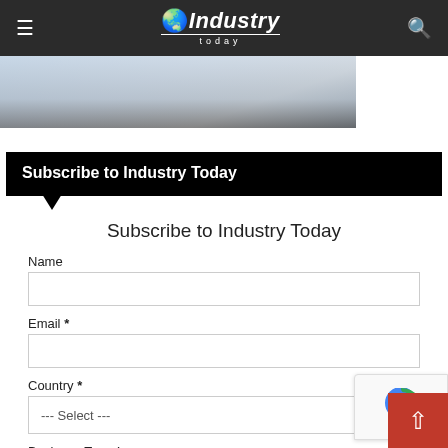Industry Today
[Figure (photo): Partial view of a laptop/technology image strip at top of page]
Subscribe to Industry Today
Subscribe to Industry Today
Name
Email *
Country *
--- Select ---
Business Type *